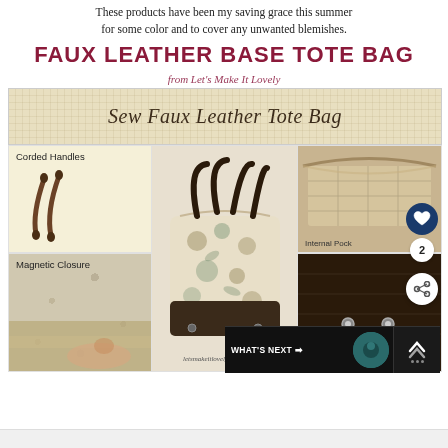These products have been my saving grace this summer for some color and to cover any unwanted blemishes.
FAUX LEATHER BASE TOTE BAG
from Let's Make It Lovely
[Figure (photo): Collage of faux leather tote bag sewing tutorial images: banner reading 'Sew Faux Leather Tote Bag', images showing corded handles, the finished tote bag with floral fabric and dark faux leather base, internal pocket, magnetic closure, and dark fabric detail. URL: letsmakeitlovely.blogspot.com]